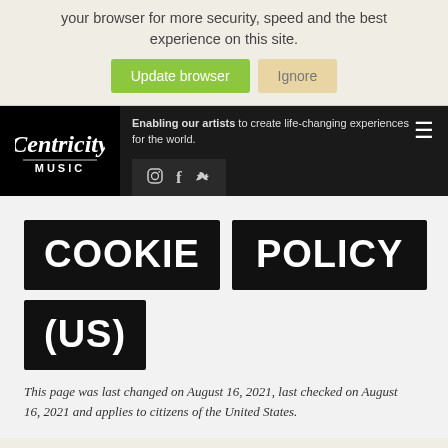your browser for more security, speed and the best experience on this site.
Update browser | Ignore
[Figure (logo): Centricity Music logo in white on black background]
Enabling our artists to create life-changing experiences for the world.
COOKIE POLICY (US)
This page was last changed on August 16, 2021, last checked on August 16, 2021 and applies to citizens of the United States.